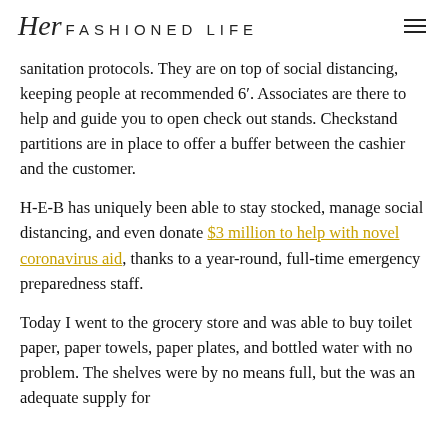Her FASHIONED LIFE
sanitation protocols. They are on top of social distancing, keeping people at recommended 6’. Associates are there to help and guide you to open check out stands. Checkstand partitions are in place to offer a buffer between the cashier and the customer.
H-E-B has uniquely been able to stay stocked, manage social distancing, and even donate $3 million to help with novel coronavirus aid, thanks to a year-round, full-time emergency preparedness staff.
Today I went to the grocery store and was able to buy toilet paper, paper towels, paper plates, and bottled water with no problem. The shelves were by no means full, but the was an adequate supply for